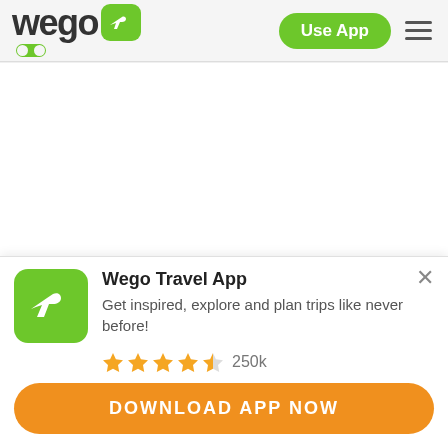[Figure (logo): Wego logo with green airplane icon and green oval below]
Use App
Some keep to themselves, while others are there to
[Figure (infographic): Wego Travel App promotional banner with app icon, title, description, star rating 250k, and Download App Now button]
Wego Travel App
Get inspired, explore and plan trips like never before!
250k
DOWNLOAD APP NOW